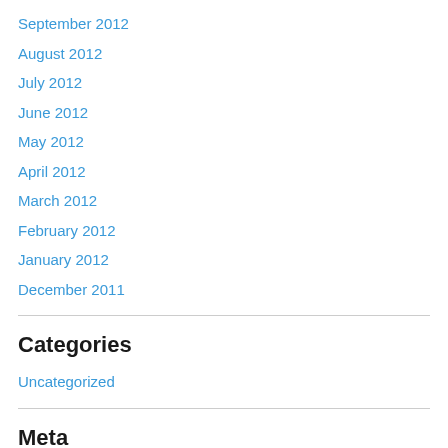September 2012
August 2012
July 2012
June 2012
May 2012
April 2012
March 2012
February 2012
January 2012
December 2011
Categories
Uncategorized
Meta
Register